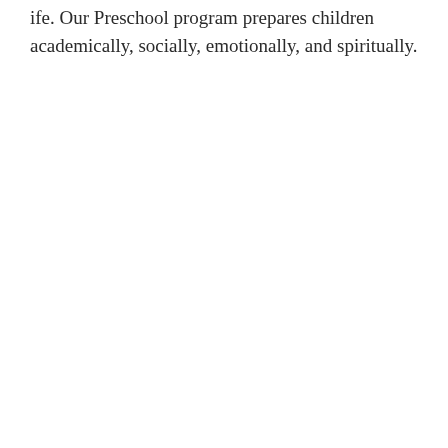ife. Our Preschool program prepares children academically, socially, emotionally, and spiritually.